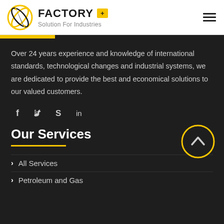[Figure (logo): Factory+ logo with circular arrow icon, bold FACTORY text with yellow + badge, and subtitle 'Solution For Industries']
Over 24 years experience and knowledge of international standards, technological changes and industrial systems, we are dedicated to provide the best and economical solutions to our valued customers.
[Figure (infographic): Social media icons row: Facebook (f), Twitter (bird), Skype (S), LinkedIn (in)]
Our Services
> All Services
> Petroleum and Gas